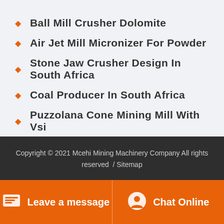Ball Mill Crusher Dolomite
Air Jet Mill Micronizer For Powder
Stone Jaw Crusher Design In South Africa
Coal Producer In South Africa
Puzzolana Cone Mining Mill With Vsi
Stone Crusher Chili Price
[Figure (illustration): Rocket icon button (white background with rounded corners, black rocket emoji)]
Copyright © 2021 Mcehi Mining Machinery Company All rights reserved  /  Sitemap
Leave a message   Chat Online